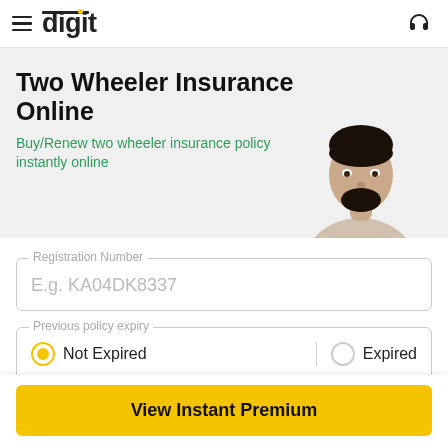digit (logo with hamburger menu and headphone icon)
Two Wheeler Insurance Online
Buy/Renew two wheeler insurance policy instantly online
[Figure (photo): Portrait photo of a man (brand ambassador) cropped from shoulders up]
Registration Number
E.g. KA04DK8337
Previous policy expiry
Not Expired (selected) | Expired
View Instant Premium